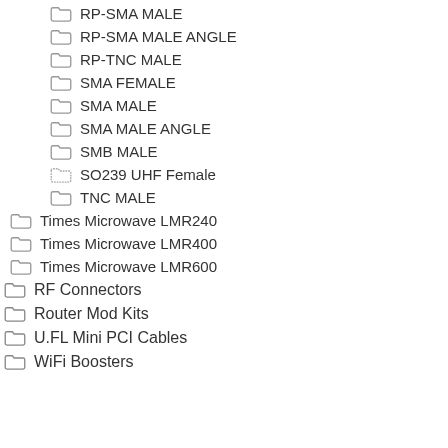RP-SMA MALE
RP-SMA MALE ANGLE
RP-TNC MALE
SMA FEMALE
SMA MALE
SMA MALE ANGLE
SMB MALE
SO239 UHF Female
TNC MALE
Times Microwave LMR240
Times Microwave LMR400
Times Microwave LMR600
RF Connectors
Router Mod Kits
U.FL Mini PCI Cables
WiFi Boosters